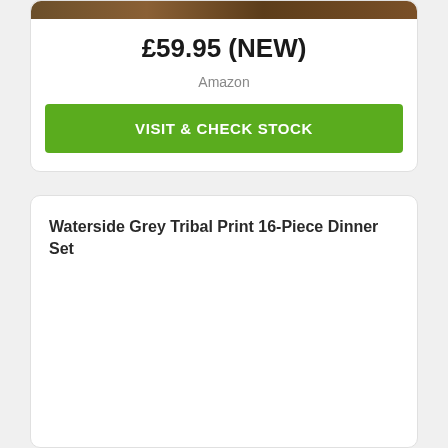[Figure (photo): Product image of a dinnerware set, partially visible at top of card]
£59.95 (NEW)
Amazon
VISIT & CHECK STOCK
Waterside Grey Tribal Print 16-Piece Dinner Set